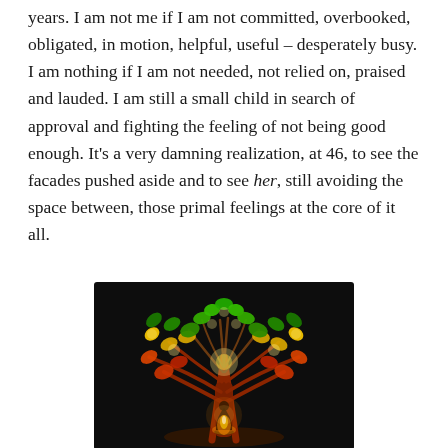years. I am not me if I am not committed, overbooked, obligated, in motion, helpful, useful – desperately busy. I am nothing if I am not needed, not relied on, praised and lauded. I am still a small child in search of approval and fighting the feeling of not being good enough. It's a very damning realization, at 46, to see the facades pushed aside and to see her, still avoiding the space between, those primal feelings at the core of it all.
[Figure (illustration): A glowing tree of life illustration on a dark background. The tree has colorful leaves in green, yellow, and red/orange, with glowing lights among the branches. At the base of the trunk sits a small meditating figure silhouette with a warm candle-like glow.]